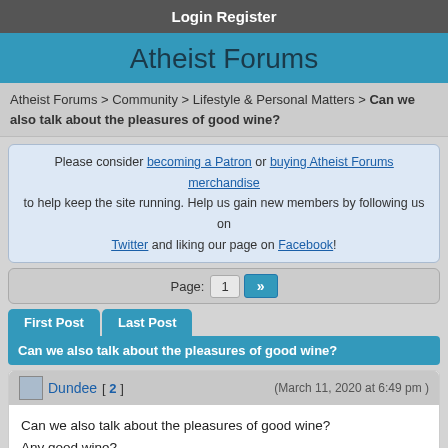Login   Register
Atheist Forums
Atheist Forums > Community > Lifestyle & Personal Matters > Can we also talk about the pleasures of good wine?
Please consider becoming a Patron or buying Atheist Forums merchandise to help keep the site running. Help us gain new members by following us on Twitter and liking our page on Facebook!
Page: 1 »
First Post   Last Post
Can we also talk about the pleasures of good wine?
Dundee [ 2 ]   (March 11, 2020 at 6:49 pm )
Can we also talk about the pleasures of good wine?
Any good wine?

As wine is also a part of Lifestyle.
Edit   Quote